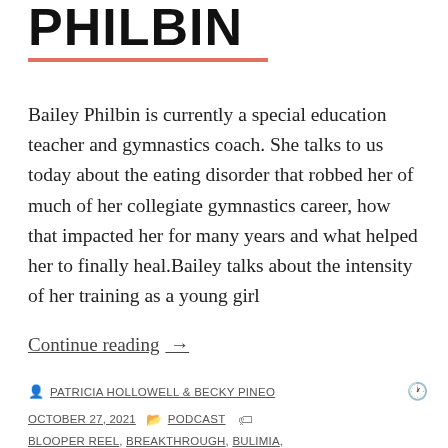PHILBIN
Bailey Philbin is currently a special education teacher and gymnastics coach. She talks to us today about the eating disorder that robbed her of much of her collegiate gymnastics career, how that impacted her for many years and what helped her to finally heal.Bailey talks about the intensity of her training as a young girl
Continue reading →
PATRICIA HOLLOWELL & BECKY PINEO   OCTOBER 27, 2021   PODCAST   BLOOPER REEL, BREAKTHROUGH, BULIMIA,